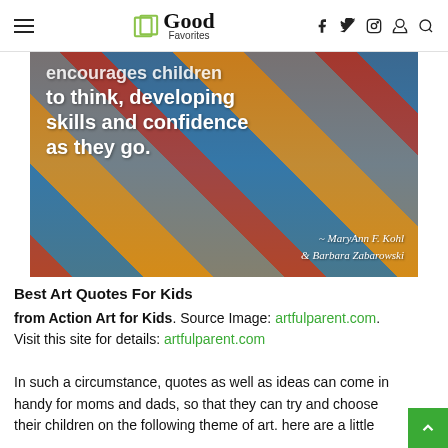Good Favorites
[Figure (photo): Abstract colorful painting (reds, blues, yellows, grays) with white text overlay reading: 'encourages children to think, developing skills and confidence as they go.' with attribution to MaryAnn F. Kohl & Barbara Zabarowski]
Best Art Quotes For Kids
from Action Art for Kids. Source Image: artfulparent.com. Visit this site for details: artfulparent.com
In such a circumstance, quotes as well as ideas can come in handy for moms and dads, so that they can try and choose their children on the following theme of art. here are a little